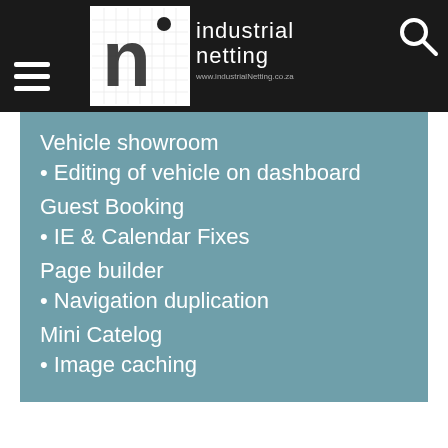[Figure (logo): Industrial Netting logo with hamburger menu icon on left and search icon on right, on a dark header bar]
Vehicle showroom
• Editing of vehicle on dashboard
Guest Booking
• IE & Calendar Fixes
Page builder
• Navigation duplication
Mini Catelog
• Image caching